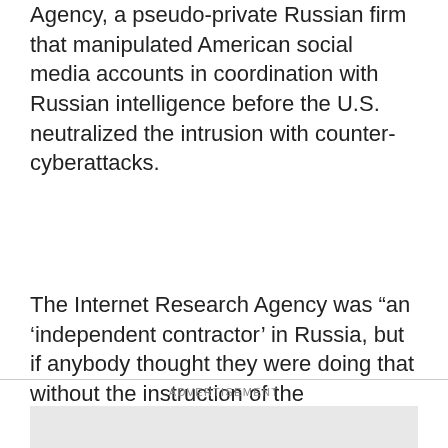Agency, a pseudo-private Russian firm that manipulated American social media accounts in coordination with Russian intelligence before the U.S. neutralized the intrusion with counter-cyberattacks.
The Internet Research Agency was “an ‘independent contractor’ in Russia, but if anybody thought they were doing that without the instruction of the intelligence services, it would be foolish and naive, to say the least,” Mr. Evanina said. He added that the recent wave of cyberoperations fits Mr. Putin’s modus operandi of doing “anything he can to destabilize our democracy.”
ADVERTISEMENT